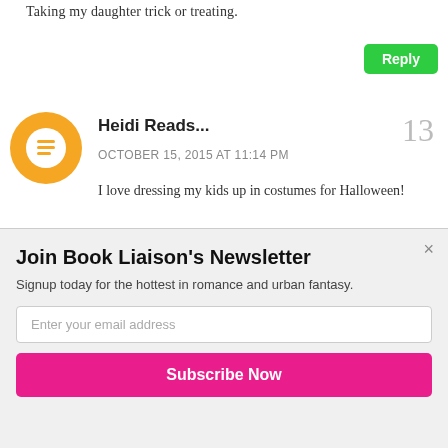Taking my daughter trick or treating.
Reply
Heidi Reads...
13
OCTOBER 15, 2015 AT 11:14 PM
I love dressing my kids up in costumes for Halloween!
Reply
[Figure (illustration): Blogger avatar icon - orange circle with white chat bubble B logo]
Lee Todd
14
[Figure (logo): POWERED BY SUMO logo pill on dark blue/purple bar]
Join Book Liaison's Newsletter
Signup today for the hottest in romance and urban fantasy.
Enter your email address
Subscribe Now